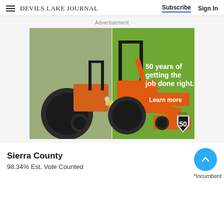DEVILS LAKE JOURNAL  Subscribe  Sign In
Advertisement
[Figure (photo): Kubota tractor advertisement showing two tractors (old and new) on grass field with text: '50 years of getting the job done right.' and a 'Learn more' button, Kubota 50 USA badge.]
Sierra County
98.34% Est. Vote Counted
*Incumbent